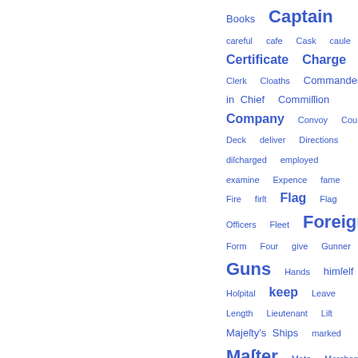[Figure (infographic): A tag cloud / word cloud displayed in blue, showing index terms of varying font sizes on the right half of the page. Terms include: Books, Captain, careful, cafe, Cask, caule, Certificate, Charge, Clerk, Cloaths, Commander in Chief, Commission, Company, Convoy, Court, Deck, deliver, Directions, discharged, employed, examine, Expence, fame, Fire, first, Flag, Flag Officers, Fleet, Foreign, Form, Four, give, Gunner, Guns, Hands, himself, Hospital, keep, Leave, Length, Lieutenant, List, Majesty's Ships, marked, Master, Mate, Merchant, Money, Months]